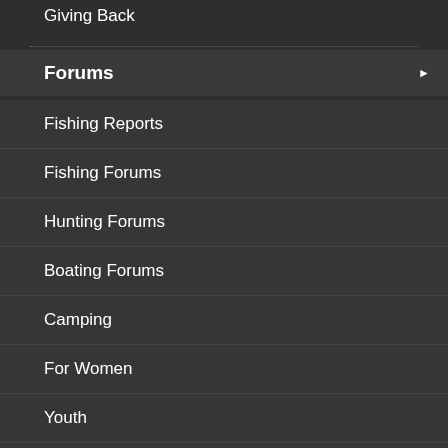Giving Back
Forums
Fishing Reports
Fishing Forums
Hunting Forums
Boating Forums
Camping
For Women
Youth
Resource Management Forums